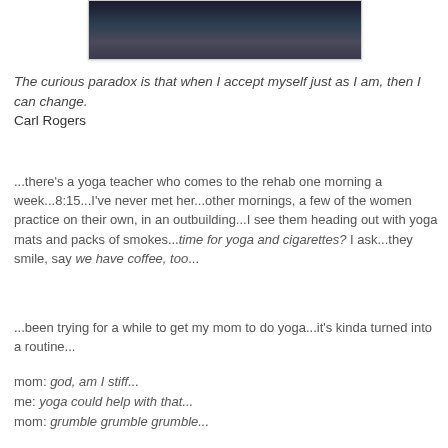[Figure (photo): Dark photo showing a landscape or water scene at dusk/night, partially visible at top of page]
The curious paradox is that when I accept myself just as I am, then I can change.
Carl Rogers
...there’s a yoga teacher who comes to the rehab one morning a week...8:15...I’ve never met her...other mornings, a few of the women practice on their own, in an outbuilding...I see them heading out with yoga mats and packs of smokes...time for yoga and cigarettes? I ask...they smile, say we have coffee, too...
...been trying for a while to get my mom to do yoga...it’s kinda turned into a routine...
mom: god, am I stiff...
me: yoga could help with that...
mom: grumble grumble grumble...